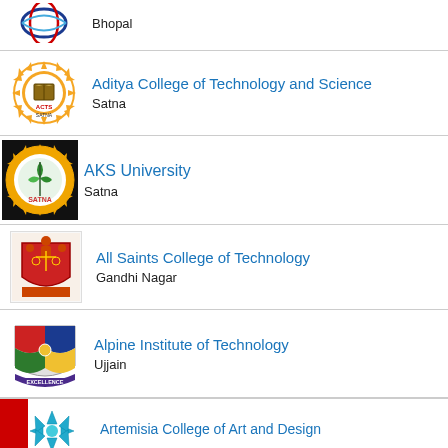Bhopal
Aditya College of Technology and Science, Satna
AKS University, Satna
All Saints College of Technology, Gandhi Nagar
Alpine Institute of Technology, Ujjain
Artemisia College of Art and Design